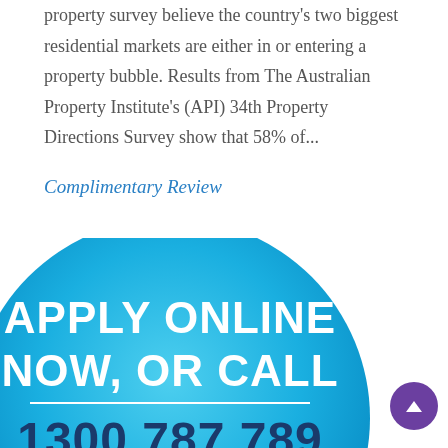property survey believe the country's two biggest residential markets are either in or entering a property bubble. Results from The Australian Property Institute's (API) 34th Property Directions Survey show that 58% of...
Complimentary Review
[Figure (infographic): Large blue circle with white text 'APPLY ONLINE NOW, OR CALL' and phone number '1300 787 789', gradient from light blue at top to darker blue at bottom]